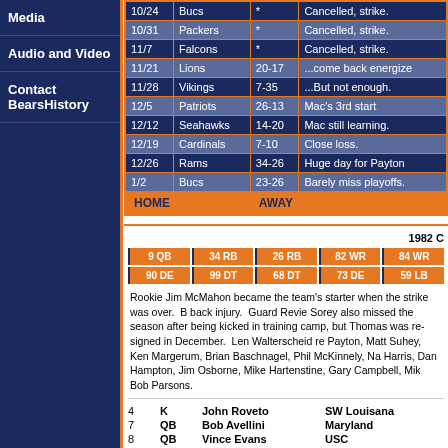Media
Audio and Video
Contact BearsHistory
| Date | Opponent | Score | Notes |
| --- | --- | --- | --- |
| 10/24 | Bucs | * | Cancelled, strike. |
| 10/31 | Packers | * | Cancelled, strike. |
| 11/7 | Falcons | * | Cancelled, strike. |
| 11/21 | Lions | 20-17 | ...come back energize |
| 11/28 | Vikings | 7-35 | ...But not enough. |
| 12/5 | Patriots | 26-13 | Mac's 3rd start |
| 12/12 | Seahawks | 14-20 | Mac still learning. |
| 12/19 | Cardinals | 7-10 | Close loss. |
| 12/26 | Rams | 34-26 | Huge day for Payton |
| 1/2 | Bucs | 23-26 | Barely miss playoffs. |
| HOME |  | AWAY |  |
1982 C
[Figure (infographic): Roster position badges row 1: 9 QB, 34 RB, 26 RB, 82 WR, 84 WR]
[Figure (infographic): Roster position badges row 2: 90 DE, 99 DT, 68 DT, 73 DE, 59 LB]
Rookie Jim McMahon became the team's starter when the strike was over. B... back injury. Guard Revie Sorey also missed the season after being kicked in training camp, but Thomas was re-signed in December. Len Walterscheid re... Payton, Matt Suhey, Ken Margerum, Brian Baschnagel, Phil McKinnely, Na... Harris, Dan Hampton, Jim Osborne, Mike Hartenstine, Gary Campbell, Mik... Bob Parsons.
| # | Pos | Name | School |
| --- | --- | --- | --- |
| 4 | K | John Roveto | SW Louisana |
| 7 | QB | Bob Avellini | Maryland |
| 8 | QB | Vince Evans | USC |